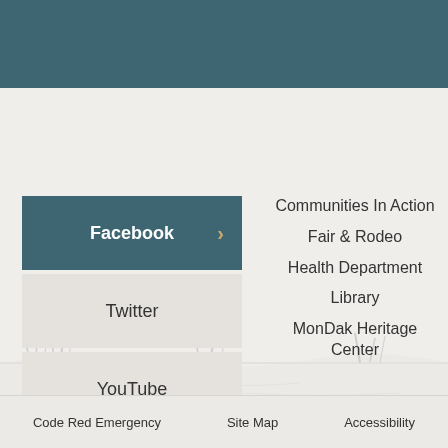Facebook
Twitter
YouTube
Instagram
Communities In Action
Fair & Rodeo
Health Department
Library
MonDak Heritage Center
Code Red Emergency   Site Map   Accessibility